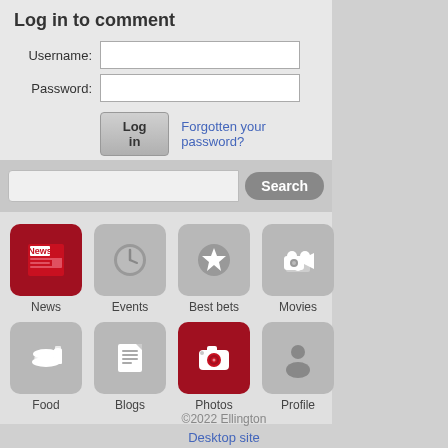Log in to comment
Username:
Password:
Log in
Forgotten your password?
[Figure (screenshot): Search bar with text input and Search button]
[Figure (infographic): Grid of 8 navigation icons: News (red), Events, Best bets, Movies, Food, Blogs, Photos (red), Profile]
©2022 Ellington
Desktop site